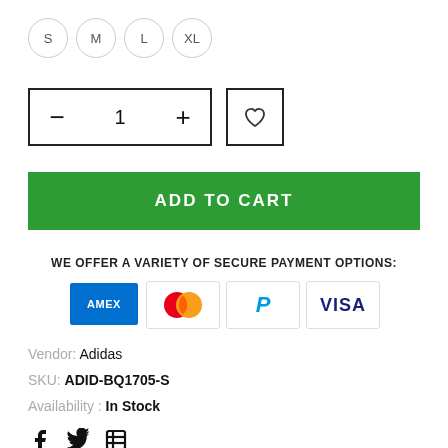S  M  L  XL
[Figure (other): Quantity selector with minus, 1, plus buttons, and heart/wishlist button]
[Figure (other): Green Add to Cart button]
WE OFFER A VARIETY OF SECURE PAYMENT OPTIONS:
[Figure (other): Payment icons: Amex, Mastercard, PayPal, Visa]
Vendor: Adidas
SKU: ADID-BQ1705-S
Availability : In Stock
[Figure (other): Social media share icons: Facebook, Twitter, share/link]